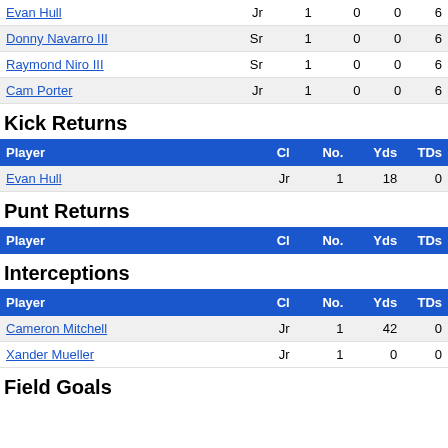| Player | Cl | No. | Yds | TDs |
| --- | --- | --- | --- | --- |
| Evan Hull | Jr | 1 | 0 | 0 | 6 |
| Donny Navarro III | Sr | 1 | 0 | 0 | 6 |
| Raymond Niro III | Sr | 1 | 0 | 0 | 6 |
| Cam Porter | Jr | 1 | 0 | 0 | 6 |
Kick Returns
| Player | Cl | No. | Yds | TDs |
| --- | --- | --- | --- | --- |
| Evan Hull | Jr | 1 | 18 | 0 |
Punt Returns
| Player | Cl | No. | Yds | TDs |
| --- | --- | --- | --- | --- |
Interceptions
| Player | Cl | No. | Yds | TDs |
| --- | --- | --- | --- | --- |
| Cameron Mitchell | Jr | 1 | 42 | 0 |
| Xander Mueller | Jr | 1 | 0 | 0 |
Field Goals